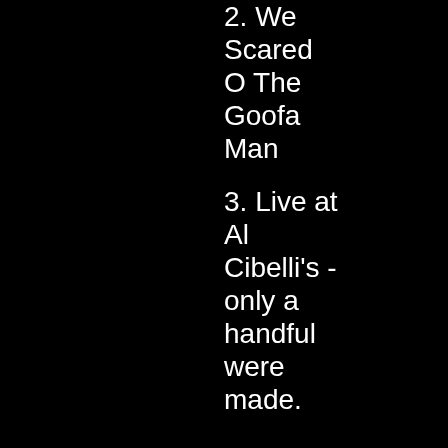2. We Scared O The Goofa Man
3. Live at Al Cibelli's - only a handful were made.
7" - Its Only Fun and Games Until Someone Loses an Eye. 500 pressed, plus a